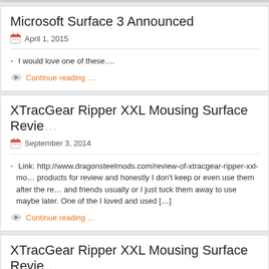Microsoft Surface 3 Announced
April 1, 2015
I would love one of these….
Continue reading …
XTracGear Ripper XXL Mousing Surface Revie…
September 3, 2014
Link: http://www.dragonsteelmods.com/review-of-xtracgear-ripper-xxl-mo… products for review and honestly I don't keep or even use them after the re… and friends usually or I just tuck them away to use maybe later. One of the I loved and used […]
Continue reading …
XTracGear Ripper XXL Mousing Surface Revie…
August 23, 2014